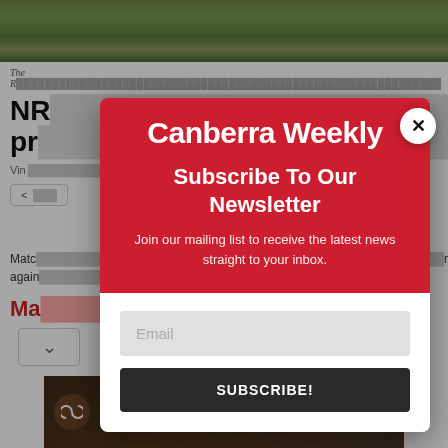[Figure (photo): Sports photo showing players on green grass field, partially visible at top]
The R...
NR... rs pr...
Vin...
[Figure (other): Newsletter subscription modal overlay for Canberra Weekly. Red header with white logo text 'Canberra Weekly', subscribe heading and subtext, email input field and subscribe button below.]
Canberra Weekly
Subscribe To Our Newsletter
Join our mailing list to receive the latest news straight to your inbox.
Email
SUBSCRIBE!
Matc... me again...
Ma...
[Figure (infographic): Promotional banner ad: '1 SEPTEMBER 2022 Hearing the Land' with infinity logo icon and orange human silhouette figures on dark brown background]